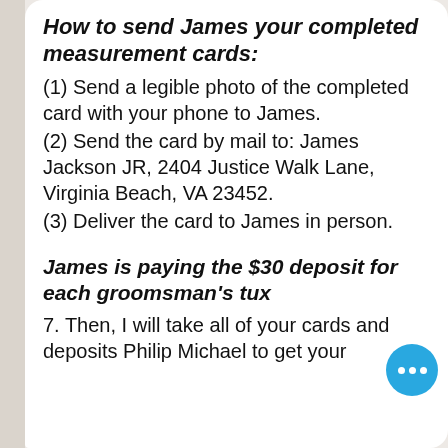How to send James your completed measurement cards:
(1) Send a legible photo of the completed card with your phone to James.
(2) Send the card by mail to: James Jackson JR, 2404 Justice Walk Lane, Virginia Beach, VA 23452.
(3) Deliver the card to James in person.
James is paying the $30 deposit for each groomsman’s tux
7. Then, I will take all of your cards and deposits Philip Michael to get your